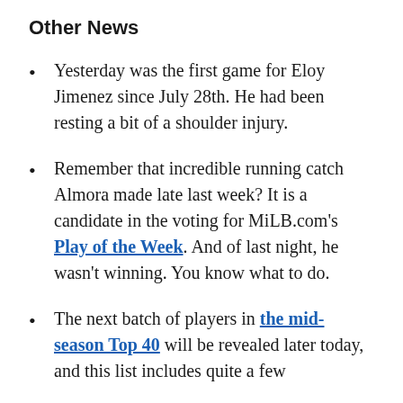Other News
Yesterday was the first game for Eloy Jimenez since July 28th. He had been resting a bit of a shoulder injury.
Remember that incredible running catch Almora made late last week? It is a candidate in the voting for MiLB.com’s Play of the Week. And of last night, he wasn’t winning. You know what to do.
The next batch of players in the mid-season Top 40 will be revealed later today, and this list includes quite a few